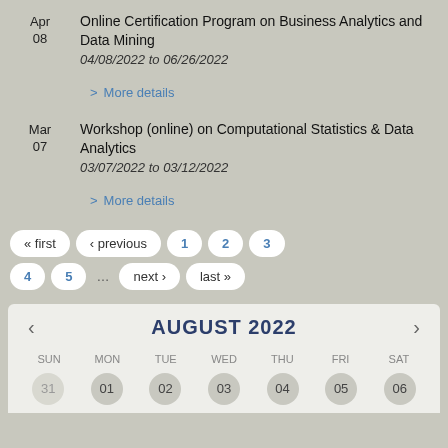Apr 08 — Online Certification Program on Business Analytics and Data Mining
04/08/2022 to 06/26/2022
> More details
Mar 07 — Workshop (online) on Computational Statistics & Data Analytics
03/07/2022 to 03/12/2022
> More details
« first  ‹ previous  1  2  3  4  5  …  next ›  last »
[Figure (other): August 2022 calendar widget showing navigation arrows, month header AUGUST 2022, day-of-week headers SUN MON TUE WED THU FRI SAT, and first row of dates 31 01 02 03 04 05 06]